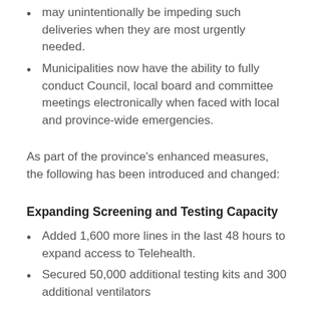may unintentionally be impeding such deliveries when they are most urgently needed.
Municipalities now have the ability to fully conduct Council, local board and committee meetings electronically when faced with local and province-wide emergencies.
As part of the province’s enhanced measures, the following has been introduced and changed:
Expanding Screening and Testing Capacity
Added 1,600 more lines in the last 48 hours to expand access to Telehealth.
Secured 50,000 additional testing kits and 300 additional ventilators